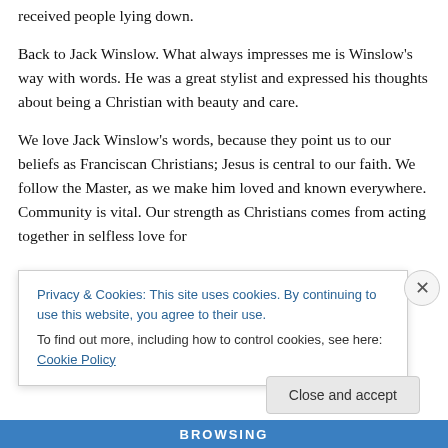received people lying down.
Back to Jack Winslow. What always impresses me is Winslow's way with words. He was a great stylist and expressed his thoughts about being a Christian with beauty and care.
We love Jack Winslow's words, because they point us to our beliefs as Franciscan Christians; Jesus is central to our faith. We follow the Master, as we make him loved and known everywhere. Community is vital. Our strength as Christians comes from acting together in selfless love for
Privacy & Cookies: This site uses cookies. By continuing to use this website, you agree to their use.
To find out more, including how to control cookies, see here: Cookie Policy
Close and accept